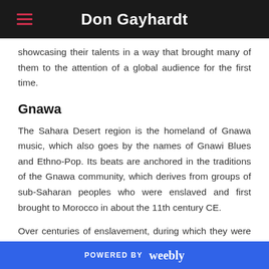Don Gayhardt
showcasing their talents in a way that brought many of them to the attention of a global audience for the first time.
Gnawa
The Sahara Desert region is the homeland of Gnawa music, which also goes by the names of Gnawi Blues and Ethno-Pop. Its beats are anchored in the traditions of the Gnawa community, which derives from groups of sub-Saharan peoples who were enslaved and first brought to Morocco in about the 11th century CE.
Over centuries of enslavement, during which they were typically forced to serve as soldiers, the Gnawa assembled the…
POWERED BY weebly